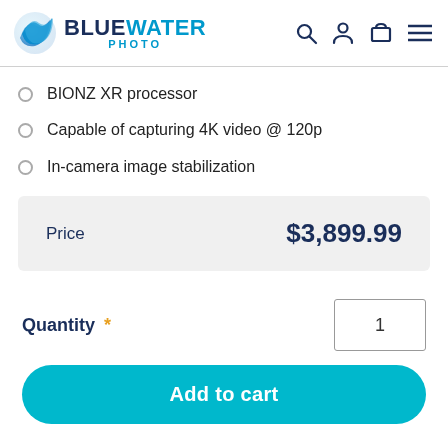BLUEWATER PHOTO
BIONZ XR processor
Capable of capturing 4K video @ 120p
In-camera image stabilization
| Price |  |
| --- | --- |
| Price | $3,899.99 |
Quantity * 1
Add to cart